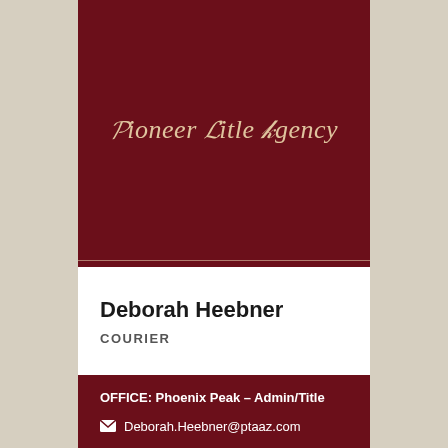[Figure (logo): Pioneer Title Agency logo in old English / blackletter script on dark maroon background]
Deborah Heebner
COURIER
OFFICE: Phoenix Peak – Admin/Title
Deborah.Heebner@ptaaz.com